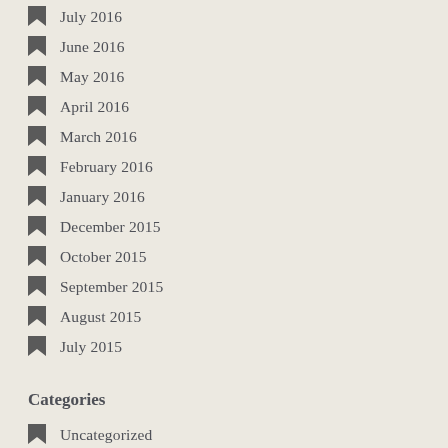July 2016
June 2016
May 2016
April 2016
March 2016
February 2016
January 2016
December 2015
October 2015
September 2015
August 2015
July 2015
Categories
Uncategorized